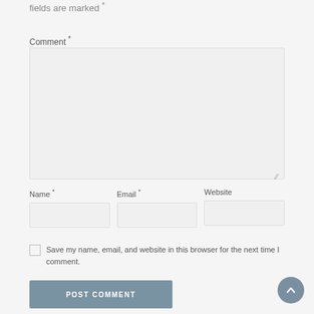fields are marked *
Comment *
[Figure (screenshot): Comment text area input field, empty, with resize handle at bottom right]
Name *
Email *
Website
[Figure (screenshot): Three input fields side by side: Name, Email, Website]
Save my name, email, and website in this browser for the next time I comment.
POST COMMENT
[Figure (other): Scroll to top circular button with upward chevron arrow]